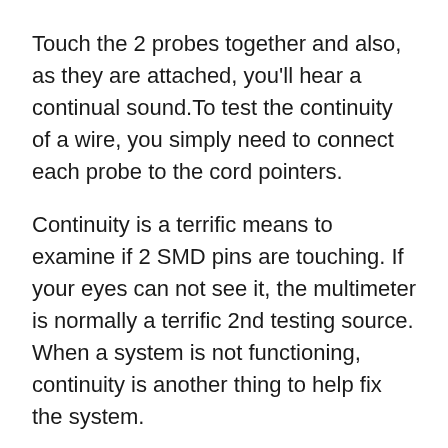Touch the 2 probes together and also, as they are attached, you'll hear a continual sound.To test the continuity of a wire, you simply need to connect each probe to the cord pointers.
Continuity is a terrific means to examine if 2 SMD pins are touching. If your eyes can not see it, the multimeter is normally a terrific 2nd testing source. When a system is not functioning, continuity is another thing to help fix the system.
Set your multimeter to the continuity setting making use of the selection knob.
The readout on the display will promptly read “1”, which implies that there isn't any kind of